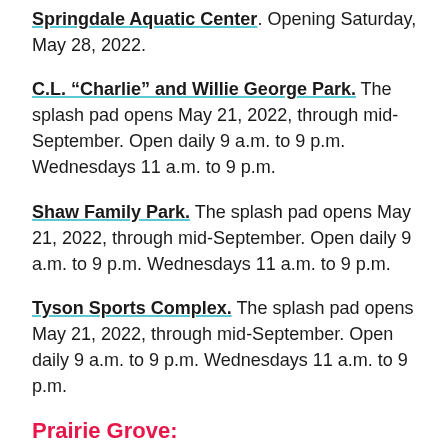Springdale Aquatic Center. Opening Saturday, May 28, 2022.
C.L. “Charlie” and Willie George Park. The splash pad opens May 21, 2022, through mid-September. Open daily 9 a.m. to 9 p.m. Wednesdays 11 a.m. to 9 p.m.
Shaw Family Park. The splash pad opens May 21, 2022, through mid-September. Open daily 9 a.m. to 9 p.m. Wednesdays 11 a.m. to 9 p.m.
Tyson Sports Complex. The splash pad opens May 21, 2022, through mid-September. Open daily 9 a.m. to 9 p.m. Wednesdays 11 a.m. to 9 p.m.
Prairie Grove:
Prairie Grove Aquatic Center. Opens May 28, 2022.